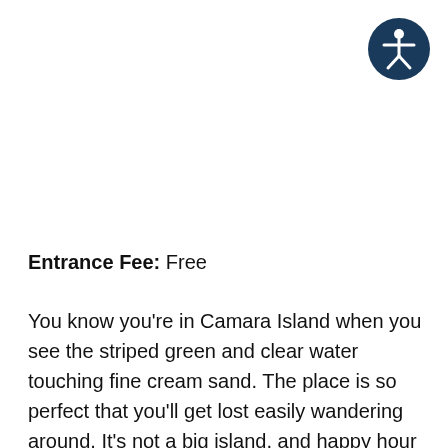[Figure (logo): Accessibility icon: white human figure with outstretched arms and legs inside a dark navy blue circle, positioned in the top-right corner]
Entrance Fee: Free
You know you're in Camara Island when you see the striped green and clear water touching fine cream sand. The place is so perfect that you'll get lost easily wandering around. It's not a big island, and happy hour is prohibited, but the sounds of the waves crashing some rock formations are enough